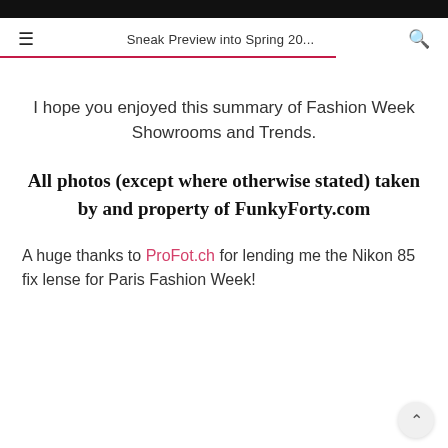Sneak Preview into Spring 20...
I hope you enjoyed this summary of Fashion Week Showrooms and Trends.
All photos (except where otherwise stated) taken by and property of FunkyForty.com
A huge thanks to ProFot.ch for lending me the Nikon 85 fix lense for Paris Fashion Week!